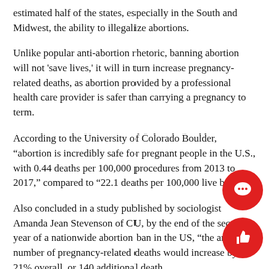estimated half of the states, especially in the South and Midwest, the ability to illegalize abortions.
Unlike popular anti-abortion rhetoric, banning abortion will not 'save lives,' it will in turn increase pregnancy-related deaths, as abortion provided by a professional health care provider is safer than carrying a pregnancy to term.
According to the University of Colorado Boulder, “abortion is incredibly safe for pregnant people in the U.S., with 0.44 deaths per 100,000 procedures from 2013 to 2017,” compared to “22.1 deaths per 100,000 live births.”
Also concluded in a study published by sociologist Amanda Jean Stevenson of CU, by the end of the second year of a nationwide abortion ban in the US, “the annual number of pregnancy-related deaths would increase by 21% overall, or 140 additional deaths
The same study also found that the rate of pregnancy-related deaths for non-Hispanic Black women will increase to 33%, accounting for an additional 78 deaths due to systemic racism in the health care